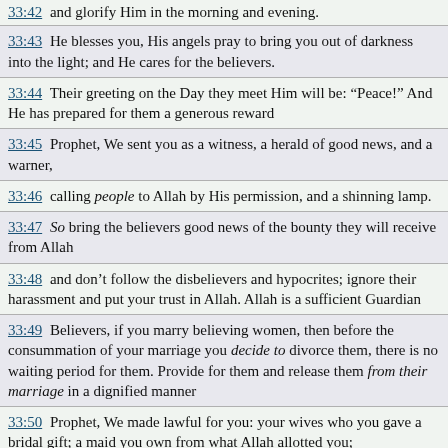33:42 and glorify Him in the morning and evening.
33:43 He blesses you, His angels pray to bring you out of darkness into the light; and He cares for the believers.
33:44 Their greeting on the Day they meet Him will be: “Peace!” And He has prepared for them a generous reward
33:45 Prophet, We sent you as a witness, a herald of good news, and a warner,
33:46 calling people to Allah by His permission, and a shinning lamp.
33:47 So bring the believers good news of the bounty they will receive from Allah
33:48 and don’t follow the disbelievers and hypocrites; ignore their harassment and put your trust in Allah. Allah is a sufficient Guardian
33:49 Believers, if you marry believing women, then before the consummation of your marriage you decide to divorce them, there is no waiting period for them. Provide for them and release them from their marriage in a dignified manner
33:50 Prophet, We made lawful for you: your wives who you gave a bridal gift; a maid you own from what Allah allotted you;